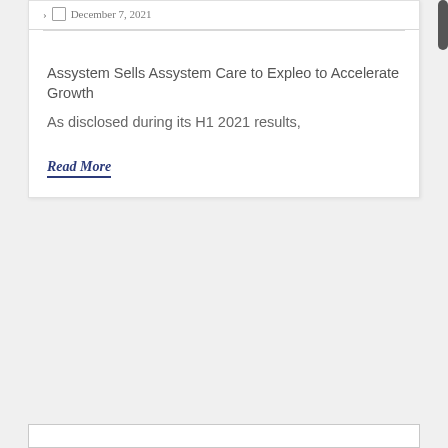December 7, 2021
Assystem Sells Assystem Care to Expleo to Accelerate Growth
As disclosed during its H1 2021 results,
Read More